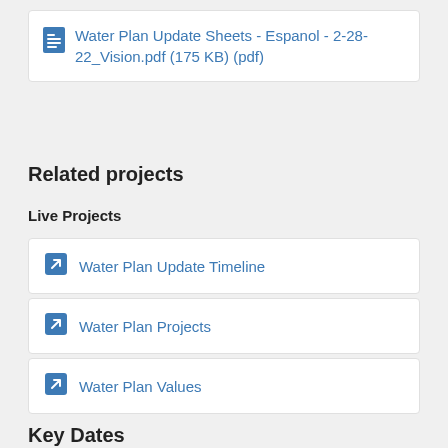Water Plan Update Sheets - Espanol - 2-28-22_Vision.pdf (175 KB) (pdf)
More...
Related projects
Live Projects
Water Plan Update Timeline
Water Plan Projects
Water Plan Values
Key Dates